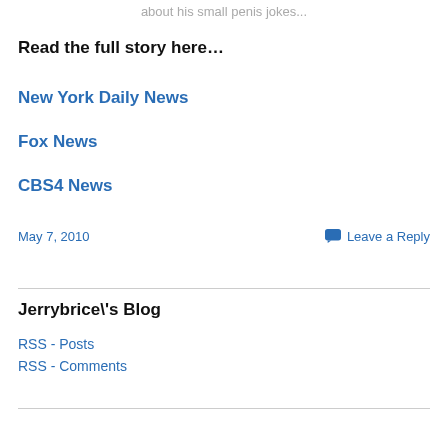about his small penis jokes...
Read the full story here...
New York Daily News
Fox News
CBS4 News
May 7, 2010
Leave a Reply
Jerrybrice\'s Blog
RSS - Posts
RSS - Comments